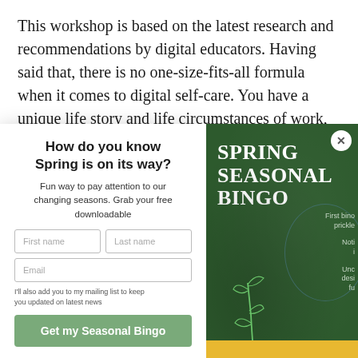This workshop is based on the latest research and recommendations by digital educators. Having said that, there is no one-size-fits-all formula when it comes to digital self-care. You have a unique life story and life circumstances of work, family and personality
How do you know Spring is on its way?
Fun way to pay attention to our changing seasons. Grab your free downloadable
[Figure (screenshot): Spring Seasonal Bingo promotional popup with a form for first name, last name, email, and a green Get my Seasonal Bingo button. Right side shows a dark green background with SPRING SEASONAL BINGO text, a plant illustration, and partial bingo card elements.]
I'll also add you to my mailing list to keep you updated on latest news